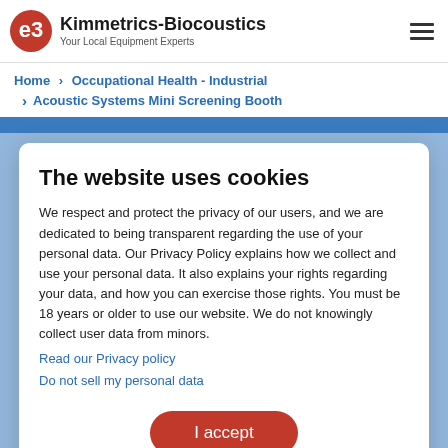Kimmetrics-Biocoustics — Your Local Equipment Experts
Home > Occupational Health - Industrial
> Acoustic Systems Mini Screening Booth
The website uses cookies
We respect and protect the privacy of our users, and we are dedicated to being transparent regarding the use of your personal data. Our Privacy Policy explains how we collect and use your personal data. It also explains your rights regarding your data, and how you can exercise those rights. You must be 18 years or older to use our website. We do not knowingly collect user data from minors.
Read our Privacy policy
Do not sell my personal data
I accept
Powered by:
Cookie Information